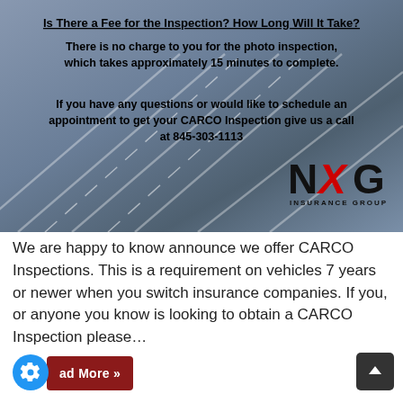[Figure (photo): Banner image with a road/highway background (blue-gray tones with lane markings). Contains bold text overlay with a title, body text, a call-to-action with phone number, and the NXG Insurance Group logo.]
We are happy to know announce we offer CARCO Inspections. This is a requirement on vehicles 7 years or newer when you switch insurance companies. If you, or anyone you know is looking to obtain a CARCO Inspection please...